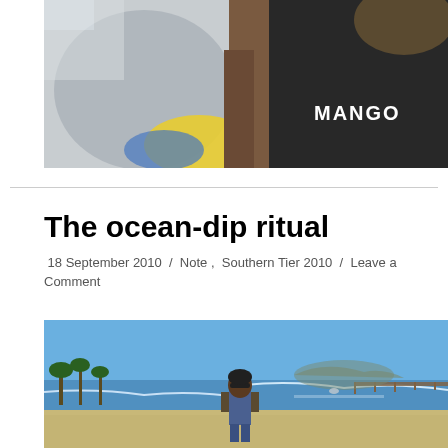[Figure (photo): Close-up photo of two people wearing casual clothing; one in a white hoodie with a yellow/blue design, another in a black Mango branded tank top, taken outdoors on a sunny day]
The ocean-dip ritual
18 September 2010 / Note , Southern Tier 2010 / Leave a Comment
[Figure (photo): Beach photo showing a person standing on a sunny beach with ocean waves, a pier visible in the background, palm trees on the left, and blue sky above]